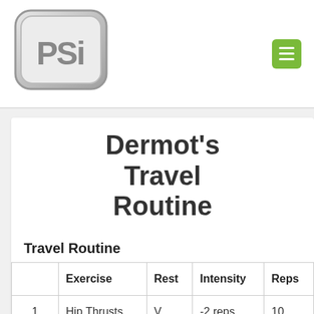[Figure (logo): PSi logo with grey metallic rounded rectangle border and green menu button in top right]
Dermot's Travel Routine
Travel Routine
|  | Exercise | Rest | Intensity | Reps |
| --- | --- | --- | --- | --- |
| 1 | Hip Thrusts, | V | -2 reps | 10 |